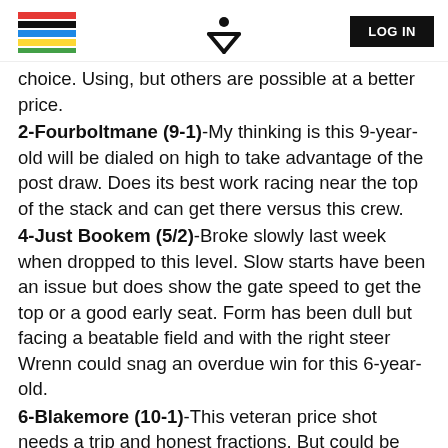LOG IN
choice. Using, but others are possible at a better price.
2-Fourboltmane (9-1)-My thinking is this 9-year-old will be dialed on high to take advantage of the post draw. Does its best work racing near the top of the stack and can get there versus this crew.
4-Just Bookem (5/2)-Broke slowly last week when dropped to this level. Slow starts have been an issue but does show the gate speed to get the top or a good early seat. Form has been dull but facing a beatable field and with the right steer Wrenn could snag an overdue win for this 6-year-old.
6-Blakemore (10-1)-This veteran price shot needs a trip and honest fractions. But could be